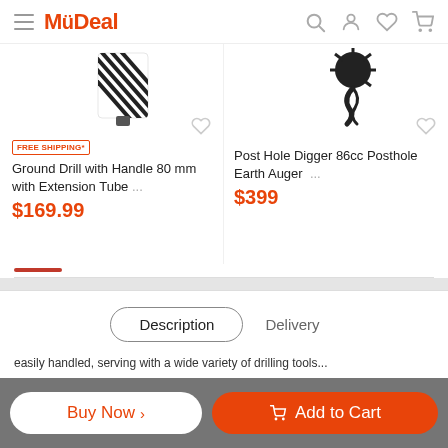MyDeal
[Figure (screenshot): Product card: Ground Drill with Handle 80mm with Extension Tube - diagonal striped drill bit image]
[Figure (screenshot): Product card: Post Hole Digger 86cc Posthole Earth Auger - black auger drill bit image]
FREE SHIPPING*
Ground Drill with Handle 80 mm with Extension Tube ...
$169.99
Post Hole Digger 86cc Posthole Earth Auger ...
$399
Description
Delivery
Buy Now >
Add to Cart
easily handled, serving with a wide variety of drilling tools...